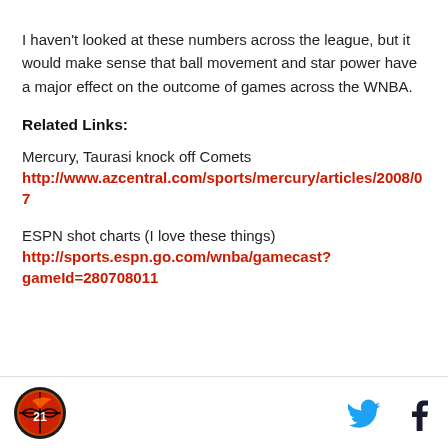I haven't looked at these numbers across the league, but it would make sense that ball movement and star power have a major effect on the outcome of games across the WNBA.
Related Links:
Mercury, Taurasi knock off Comets
http://www.azcentral.com/sports/mercury/articles/2008/07
ESPN shot charts (I love these things)
http://sports.espn.go.com/wnba/gamecast?gameId=280708011
[Figure (logo): Site logo: basketball with wing emblem, red/orange on dark background]
[Figure (infographic): Social media icons: Twitter bird (blue) and Facebook f (dark)]